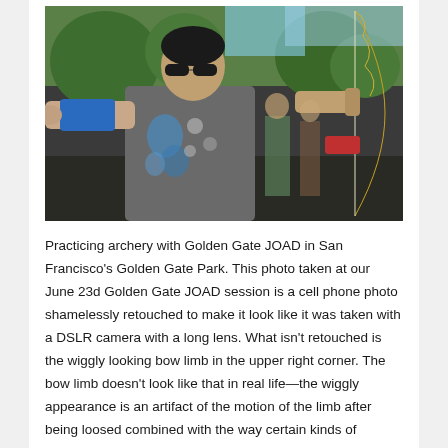[Figure (photo): A man wearing sunglasses and a gray t-shirt practicing archery, drawing a bow with a blue arm guard, outdoors in a park with other archers visible in the background.]
Practicing archery with Golden Gate JOAD in San Francisco's Golden Gate Park. This photo taken at our June 23d Golden Gate JOAD session is a cell phone photo shamelessly retouched to make it look like it was taken with a DSLR camera with a long lens. What isn't retouched is the wiggly looking bow limb in the upper right corner. The bow limb doesn't look like that in real life—the wiggly appearance is an artifact of the motion of the limb after being loosed combined with the way certain kinds of camera sensors scan.
[Figure (photo): Partial view of another archery-related photo at the bottom of the page, showing a blue sky background with what appears to be a bow.]